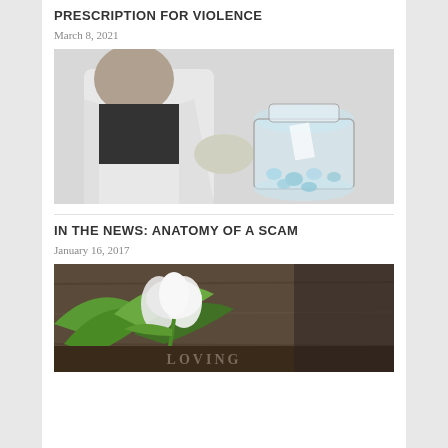PRESCRIPTION FOR VIOLENCE
March 8, 2021
[Figure (photo): A bearded man in a white lab coat laughing while holding a large glass jar filled with blue glass marbles or crystals, against a white brick wall background.]
IN THE NEWS: ANATOMY OF A SCAM
January 16, 2017
[Figure (photo): A white tulip flower lying on a weathered wooden surface, with partial text 'LOVING' visible below.]